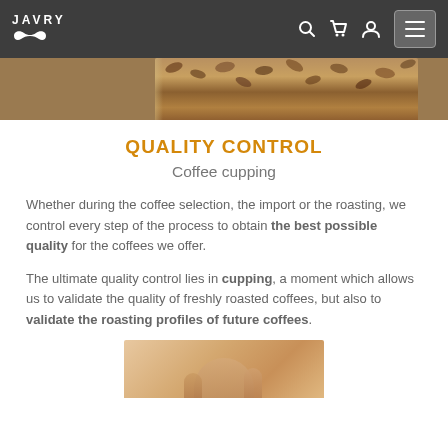JAVRY [navigation header with logo, search, cart, user, menu icons]
[Figure (photo): Top portion of a coffee roasting machine with coffee beans visible, cropped to show just the lower part of the image]
QUALITY CONTROL
Coffee cupping
Whether during the coffee selection, the import or the roasting, we control every step of the process to obtain the best possible quality for the coffees we offer.
The ultimate quality control lies in cupping, a moment which allows us to validate the quality of freshly roasted coffees, but also to validate the roasting profiles of future coffees.
[Figure (photo): Close-up photo of hands holding coffee beans or cupping equipment, warm toned background]